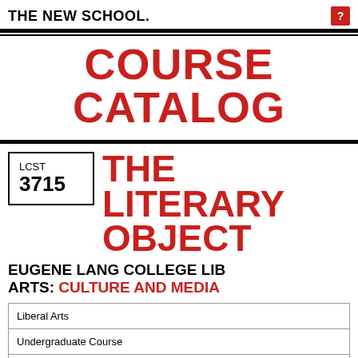THE NEW SCHOOL.
COURSE CATALOG
LCST 3715 THE LITERARY OBJECT
EUGENE LANG COLLEGE LIB ARTS: CULTURE AND MEDIA
| Liberal Arts |
| Undergraduate Course |
| Degree Students |